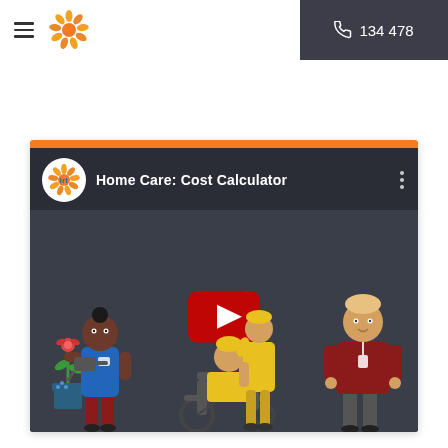IRT Home Care website header with hamburger menu, IRT logo, search icon, and phone number 134 478
[Figure (screenshot): YouTube-style embedded video thumbnail for 'Home Care: Cost Calculator' by IRT. Shows IRT logo circle, video title, and illustrated characters including a care worker watering a plant, a person in a wheelchair, and a standing worker. A red YouTube play button is centered on the dark video scene. An orange bar tops the video frame.]